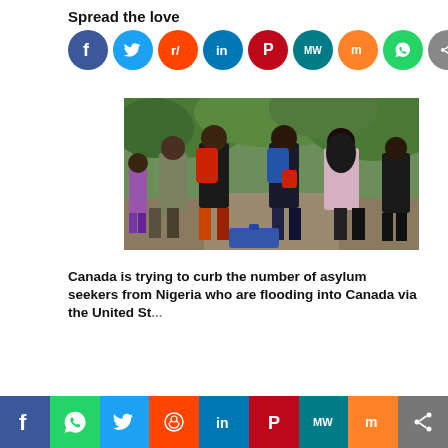Spread the love
[Figure (infographic): Row of social media share buttons: Facebook (blue), Twitter (light blue), Reddit (orange-red), LinkedIn (dark blue), Pinterest (dark red), MeWe (teal), Mix (orange), WhatsApp (green), Share (grey)]
[Figure (photo): Group of people walking away from camera carrying backpacks and luggage, with green trees in the background. Appears to show migrants or asylum seekers walking through a wooded area.]
Canada is trying to curb the number of asylum seekers from Nigeria who are flooding into Canada via the United St...
[Figure (infographic): Bottom social share bar with icons: Facebook (blue), WhatsApp (green), Twitter (light blue), Reddit (orange-red), LinkedIn (dark blue), Pinterest (dark red), MeWe (teal), Mix (orange), Share (grey)]